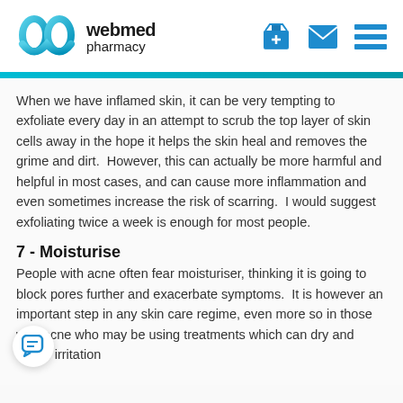[Figure (logo): WebMed Pharmacy logo with teal/blue W icon and pharmacy name, plus nav icons (basket, envelope, menu)]
When we have inflamed skin, it can be very tempting to exfoliate every day in an attempt to scrub the top layer of skin cells away in the hope it helps the skin heal and removes the grime and dirt.  However, this can actually be more harmful and helpful in most cases, and can cause more inflammation and even sometimes increase the risk of scarring.  I would suggest exfoliating twice a week is enough for most people.
7 - Moisturise
People with acne often fear moisturiser, thinking it is going to block pores further and exacerbate symptoms.  It is however an important step in any skin care regime, even more so in those with acne who may be using treatments which can dry and cause irritation